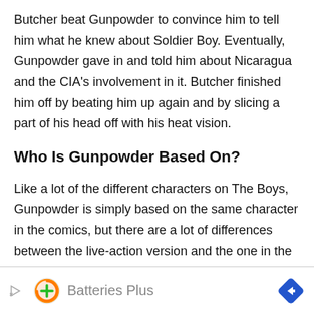Butcher beat Gunpowder to convince him to tell him what he knew about Soldier Boy. Eventually, Gunpowder gave in and told him about Nicaragua and the CIA's involvement in it. Butcher finished him off by beating him up again and by slicing a part of his head off with his heat vision.
Who Is Gunpowder Based On?
Like a lot of the different characters on The Boys, Gunpowder is simply based on the same character in the comics, but there are a lot of differences between the live-action version and the one in the comic books.
[Figure (other): Advertisement banner for Batteries Plus with play icon, green plus circle logo, text 'Batteries Plus', and blue diamond arrow icon]